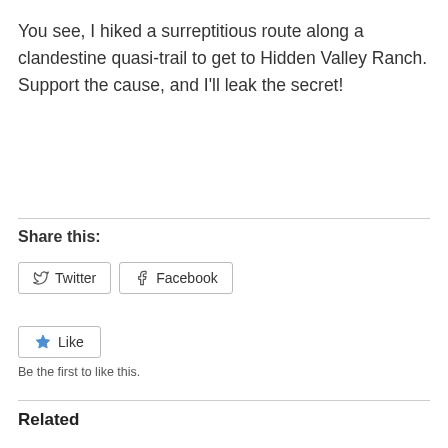You see, I hiked a surreptitious route along a clandestine quasi-trail to get to Hidden Valley Ranch. Support the cause, and I'll leak the secret!
Share this:
[Figure (other): Twitter and Facebook share buttons, and a Like button with text 'Be the first to like this.']
Related